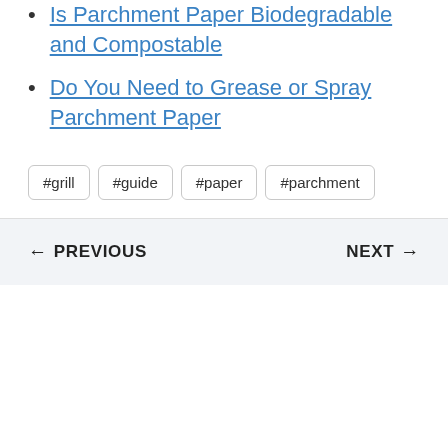Is Parchment Paper Biodegradable and Compostable
Do You Need to Grease or Spray Parchment Paper
#grill  #guide  #paper  #parchment
← PREVIOUS    NEXT →